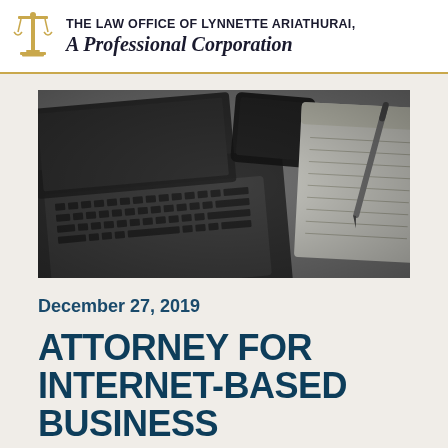THE LAW OFFICE OF LYNNETTE ARIATHURAI, A Professional Corporation
[Figure (photo): Black and white close-up photo of a laptop keyboard with a smartphone and a notepad with pen in the background on a desk]
December 27, 2019
ATTORNEY FOR INTERNET-BASED BUSINESS